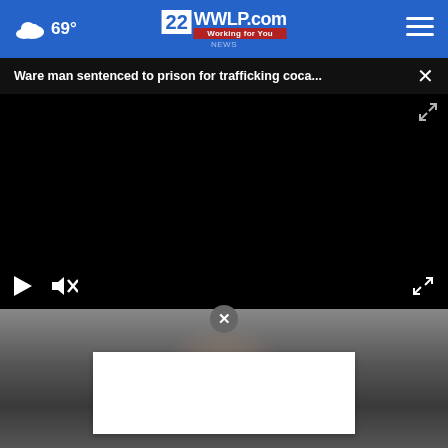69° WWLP.com 22 NEWS Working for You
Ware man sentenced to prison for trafficking coca...
[Figure (screenshot): Black video player area with play and mute controls at bottom, and expand icon at bottom right]
[Figure (photo): Close-up photo of a person's face, partially visible, grayscale tones]
[Figure (other): White advertisement overlay box with X close button]